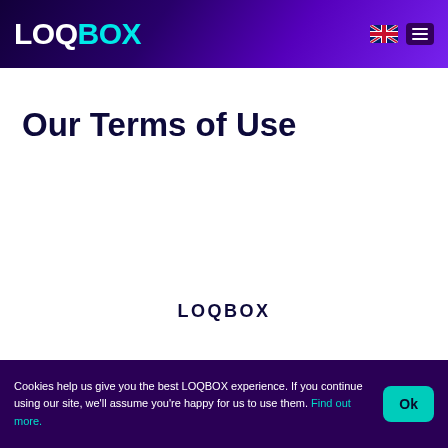LOQBOX
Our Terms of Use
LOQBOX
Cookies help us give you the best LOQBOX experience. If you continue using our site, we'll assume you're happy for us to use them. Find out more.